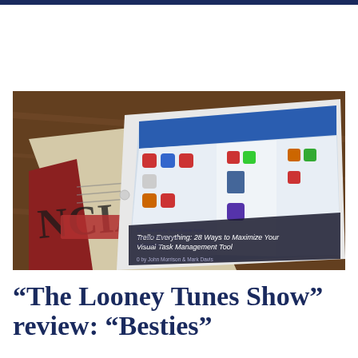[Figure (photo): A tablet displaying a web page (showing 'Trello Everything: 28 Ways to Maximize Your Visual Task Management Tool') resting on top of a newspaper partially showing the letters 'NCIAL', placed on a wooden table surface.]
“The Looney Tunes Show” review: “Besties”